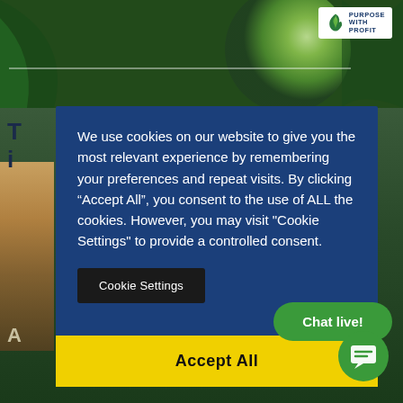[Figure (photo): Green globe / earth with plant leaves background photo at top of webpage]
[Figure (logo): Purpose with Profit logo: white box with blue leaf/plant icon and text 'PURPOSE WITH PROFIT']
T... i...
We use cookies on our website to give you the most relevant experience by remembering your preferences and repeat visits. By clicking “Accept All”, you consent to the use of ALL the cookies. However, you may visit "Cookie Settings" to provide a controlled consent.
Cookie Settings
Accept All
A...
Chat live!